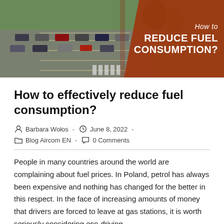[Figure (photo): Aerial view of a busy road with cars and traffic, overlaid with an orange/brown banner on the right reading 'How to REDUCE FUEL CONSUMPTION?']
How to effectively reduce fuel consumption?
Barbara Wołos  -  June 8, 2022  -  Blog Aircom EN  -  0 Comments
People in many countries around the world are complaining about fuel prices. In Poland, petrol has always been expensive and nothing has changed for the better in this respect. In the face of increasing amounts of money that drivers are forced to leave at gas stations, it is worth seriously considering eco-driving.